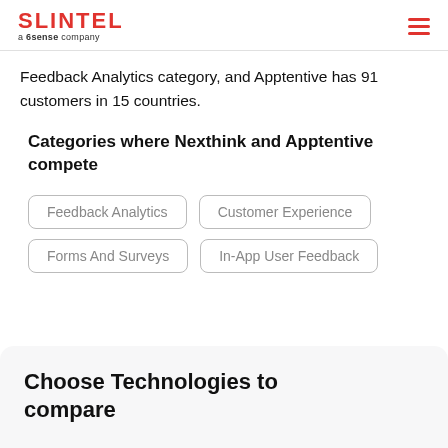SLINTEL a 6sense company
Feedback Analytics category, and Apptentive has 91 customers in 15 countries.
Categories where Nexthink and Apptentive compete
Feedback Analytics
Customer Experience
Forms And Surveys
In-App User Feedback
Choose Technologies to compare